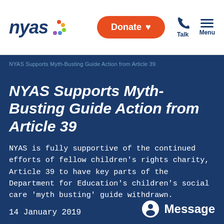[Figure (logo): NYAS logo with colorful dots]
Donate ♥
Talk
Menu
NYAS Supports Myth-Busting Guide Action from Article 39
NYAS Supports Myth-Busting Guide Action from Article 39
NYAS is fully supportive of the continued efforts of fellow children's rights charity, Article 39 to have key parts of the Department for Education's children's social care 'myth busting' guide withdrawn.
14 January 2019
NEWS